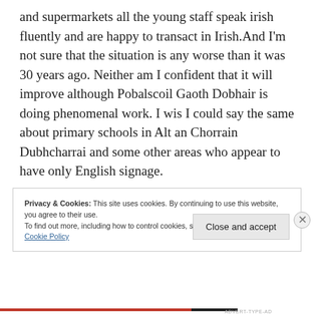and supermarkets all the young staff speak irish fluently and are happy to transact in Irish.And I'm not sure that the situation is any worse than it was 30 years ago. Neither am I confident that it will improve although Pobalscoil Gaoth Dobhair is doing phenomenal work. I wis I could say the same about primary schools in Alt an Chorrain Dubhcharrai and some other areas who appear to have only English signage.
Privacy & Cookies: This site uses cookies. By continuing to use this website, you agree to their use.
To find out more, including how to control cookies, see here:
Cookie Policy
Close and accept